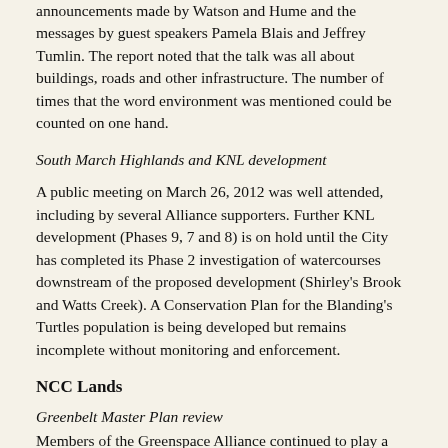announcements made by Watson and Hume and the messages by guest speakers Pamela Blais and Jeffrey Tumlin. The report noted that the talk was all about buildings, roads and other infrastructure. The number of times that the word environment was mentioned could be counted on one hand.
South March Highlands and KNL development
A public meeting on March 26, 2012 was well attended, including by several Alliance supporters. Further KNL development (Phases 9, 7 and 8) is on hold until the City has completed its Phase 2 investigation of watercourses downstream of the proposed development (Shirley's Brook and Watts Creek). A Conservation Plan for the Blanding's Turtles population is being developed but remains incomplete without monitoring and enforcement.
NCC Lands
Greenbelt Master Plan review
Members of the Greenspace Alliance continued to play a very active role as members of the Greenbelt Coalition of Canada's Capital Region as well as representatives on the NCC's Public Advisory Committee. The review of the 1996 Greenbelt Master Plan, which began in the 2008, continued with the presentation by the NCC of three concept plans for review by the public. Although